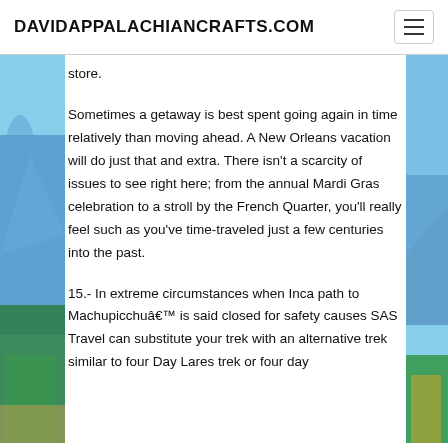DAVIDAPPALACHIANCRAFTS.COM
store.
Sometimes a getaway is best spent going again in time relatively than moving ahead. A New Orleans vacation will do just that and extra. There isn't a scarcity of issues to see right here; from the annual Mardi Gras celebration to a stroll by the French Quarter, you'll really feel such as you've time-traveled just a few centuries into the past.
15.- In extreme circumstances when Inca path to Machupicchuâ€™ is said closed for safety causes SAS Travel can substitute your trek with an alternative trek similar to four Day Lares trek or four day